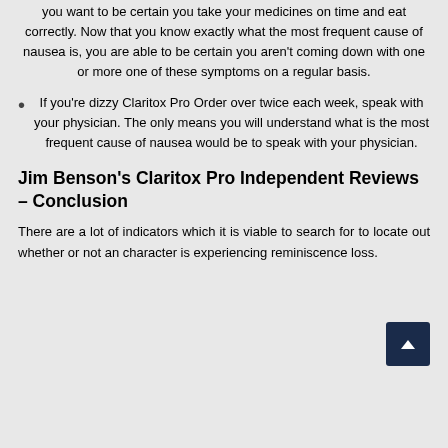you want to be certain you take your medicines on time and eat correctly. Now that you know exactly what the most frequent cause of nausea is, you are able to be certain you aren't coming down with one or more one of these symptoms on a regular basis.
If you're dizzy Claritox Pro Order over twice each week, speak with your physician. The only means you will understand what is the most frequent cause of nausea would be to speak with your physician.
Jim Benson's Claritox Pro Independent Reviews – Conclusion
There are a lot of indicators which it is viable to search for to locate out whether or not an character is experiencing reminiscence loss.